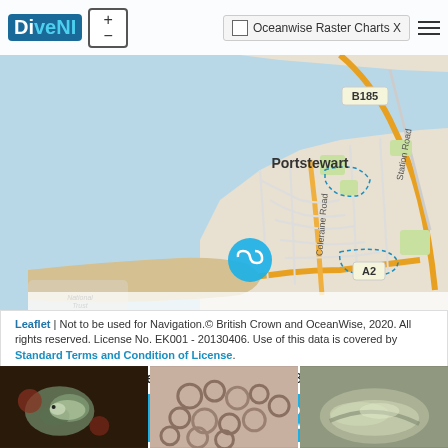[Figure (map): Interactive web map showing Portstewart coastal area in Northern Ireland with DiveNI branding, Leaflet map, road labels B185 and A2, Coleraine Road, Station Road, and a dive site marker icon near the harbor. Includes zoom controls and Oceanwise Raster Charts checkbox overlay.]
Leaflet | Not to be used for Navigation.© British Crown and OceanWise, 2020. All rights reserved. License No. EK001 - 20130406. Use of this data is covered by Standard Terms and Condition of License.
Latitude, Longitude: 55.180550, -6.724833
OPEN IN GOOGLE MAPS
CONVERT COORDINATES TO DDM/DMS
[Figure (photo): Underwater photo showing a shark or fish close-up against reef with reddish algae background]
[Figure (photo): Underwater photo showing circular/ring-shaped marine organisms, possibly sea anemones or jellyfish]
[Figure (photo): Underwater photo showing what appears to be a flatfish or similar marine creature on the seabed]